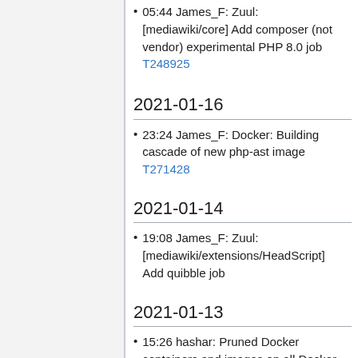05:44 James_F: Zuul: [mediawiki/core] Add composer (not vendor) experimental PHP 8.0 job T248925
2021-01-16
23:24 James_F: Docker: Building cascade of new php-ast image T271428
2021-01-14
19:08 James_F: Zuul: [mediawiki/extensions/HeadScript] Add quibble job
2021-01-13
15:26 hashar: Pruned Docker containers and images on all Docker based Jenkins agents